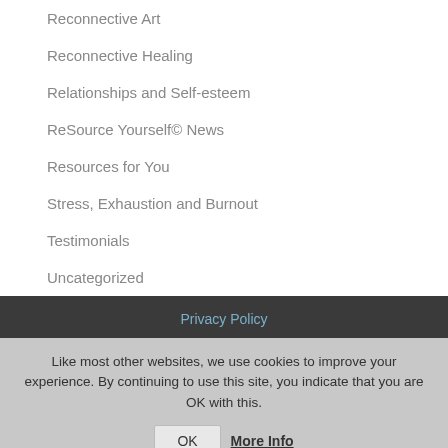Reconnective Art
Reconnective Healing
Relationships and Self-esteem
ReSource Yourself© News
Resources for You
Stress, Exhaustion and Burnout
Testimonials
Uncategorized
Privacy Policy
Like most other websites, we use cookies to improve your experience. By continuing to use this site, you indicate that you are OK with this.
OK  More Info